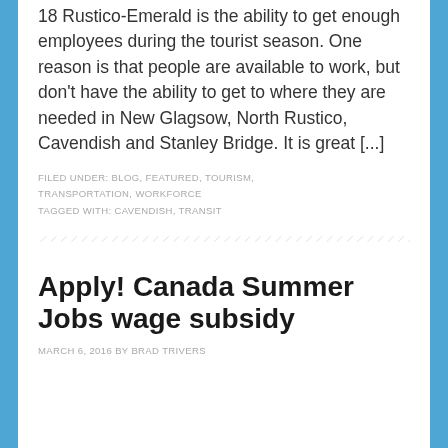One of the biggest concerns of employers in District 18 Rustico-Emerald is the ability to get enough employees during the tourist season.  One reason is that people are available to work, but don't have the ability to get to where they are needed in New Glagsow, North Rustico, Cavendish and Stanley Bridge.  It is great [...]
FILED UNDER: BLOG, FEATURED, TOURISM, TRANSPORTATION, WORKFORCE
TAGGED WITH: CAVENDISH, TRANSIT
Apply! Canada Summer Jobs wage subsidy
MARCH 6, 2016 BY BRAD TRIVERS